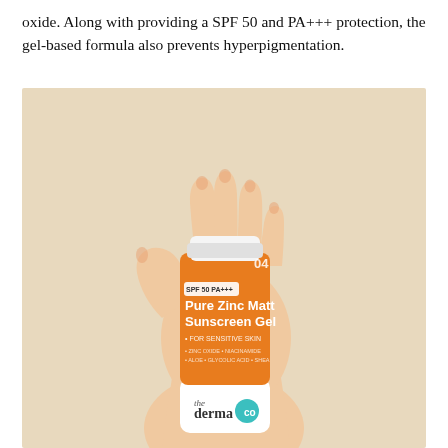oxide. Along with providing a SPF 50 and PA+++ protection, the gel-based formula also prevents hyperpigmentation.
[Figure (photo): A hand holding a tube of The Derma Co Pure Zinc Matte Sunscreen Gel (SPF 50, PA+++) with an orange label, photographed against a warm beige/cream background.]